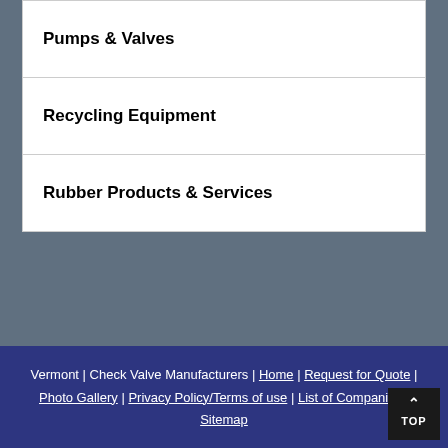Pumps & Valves
Recycling Equipment
Rubber Products & Services
Vermont | Check Valve Manufacturers | Home | Request for Quote | Photo Gallery | Privacy Policy/Terms of use | List of Companies | Sitemap